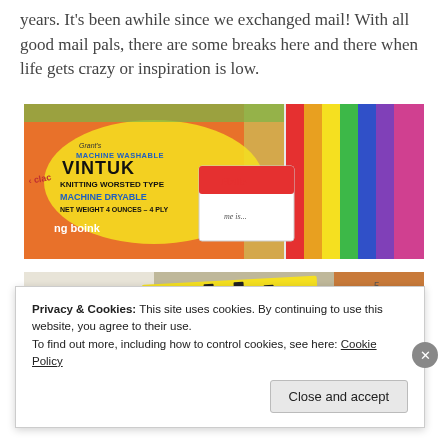years. It's been awhile since we exchanged mail! With all good mail pals, there are some breaks here and there when life gets crazy or inspiration is low.
[Figure (photo): Photo of a vintage yarn label reading 'VINTUK MACHINE WASHABLE KNITTING WORSTED TYPE MACHINE DRYABLE NET WEIGHT 4 OUNCES - 4 PLY' alongside a Hello My Name Is sticker and colorful striped papers.]
[Figure (photo): Photo of a yellow envelope or paper with 'CHOOSE HAPPINESS' text visible.]
Privacy & Cookies: This site uses cookies. By continuing to use this website, you agree to their use.
To find out more, including how to control cookies, see here: Cookie Policy
Close and accept